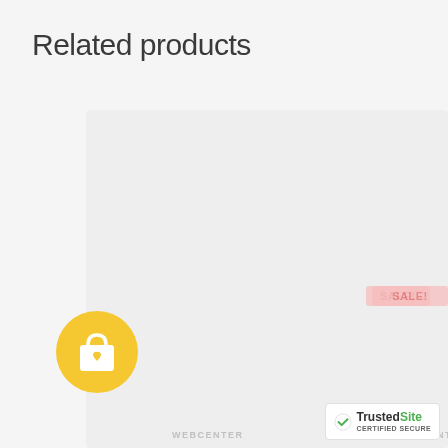Related products
[Figure (screenshot): Product listing area with sale badges and watermarks, showing a partially loaded e-commerce related products section with two SALE badges visible and WEBCENTER watermarks]
[Figure (logo): Yellow circular shopping bag with heart icon (WooCenter or similar e-commerce plugin logo)]
[Figure (logo): TrustedSite CERTIFIED SECURE badge]